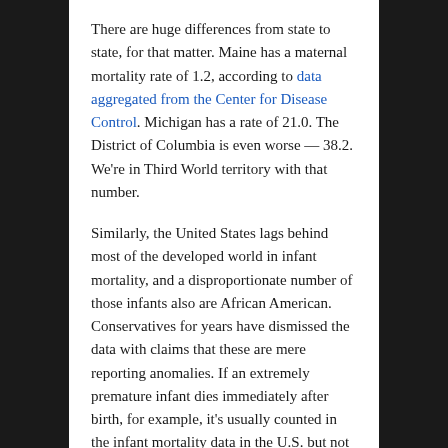There are huge differences from state to state, for that matter. Maine has a maternal mortality rate of 1.2, according to data aggregated from the Center for Disease Control. Michigan has a rate of 21.0. The District of Columbia is even worse — 38.2. We're in Third World territory with that number.
Similarly, the United States lags behind most of the developed world in infant mortality, and a disproportionate number of those infants also are African American. Conservatives for years have dismissed the data with claims that these are mere reporting anomalies. If an extremely premature infant dies immediately after birth, for example, it's usually counted in the infant mortality data in the U.S. but not here...